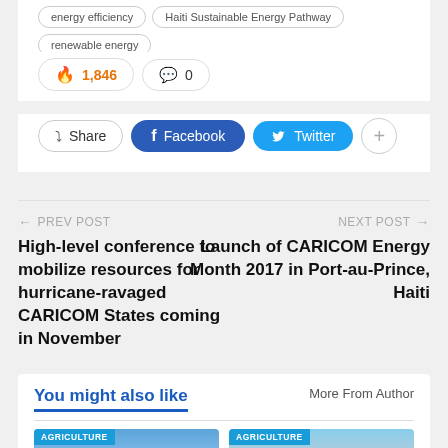energy efficiency | Haiti Sustainable Energy Pathway | renewable energy
🔥 1,846  💬 0
Share  Facebook  Twitter  +
← PREV POST
High-level conference to mobilize resources for hurricane-ravaged CARICOM States coming in November
NEXT POST →
Launch of CARICOM Energy Month 2017 in Port-au-Prince, Haiti
You might also like
More From Author
[Figure (photo): Agriculture category photo - sky and landscape]
[Figure (photo): Agriculture category photo - hillside landscape]